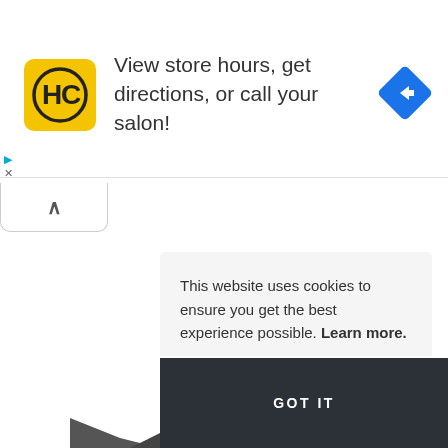[Figure (screenshot): Ad banner with HC salon logo (yellow square with HC letters in black circle), text 'View store hours, get directions, or call your salon!', and a blue diamond-shaped directions icon on the right. Small play and close (X) controls below the ad.]
[Figure (screenshot): A collapse/accordion tab with an upward caret (^) symbol, white background with rounded bottom corners and a light border.]
This website uses cookies to ensure you get the best experience possible. Learn more.
[Figure (screenshot): GOT IT button in dark charcoal background with white bold text.]